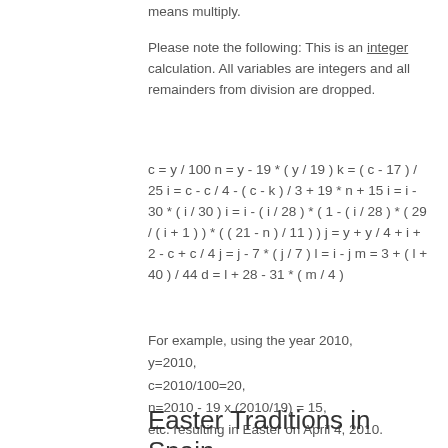means multiply.
Please note the following: This is an integer calculation. All variables are integers and all remainders from division are dropped.
For example, using the year 2010,
y=2010,
c=2010/100=20,
n=2010 - 19 x (2010/19) = 15,
etc. resulting in Easter on April 4, 2010.
Easter Traditions in Spain